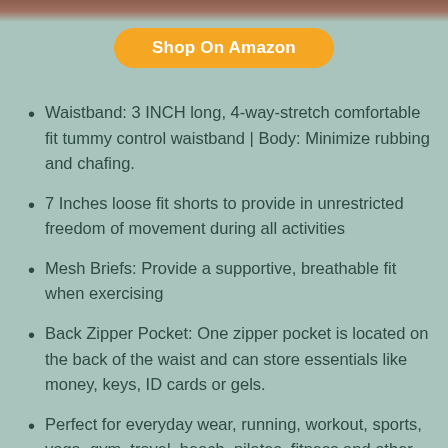[Figure (photo): Partial image of clothing items visible at top of page]
Shop On Amazon
Waistband: 3 INCH long, 4-way-stretch comfortable fit tummy control waistband | Body: Minimize rubbing and chafing.
7 Inches loose fit shorts to provide in unrestricted freedom of movement during all activities
Mesh Briefs: Provide a supportive, breathable fit when exercising
Back Zipper Pocket: One zipper pocket is located on the back of the waist and can store essentials like money, keys, ID cards or gels.
Perfect for everyday wear, running, workout, sports, yoga, gym, travel, beach, pilates, fitness and other active.